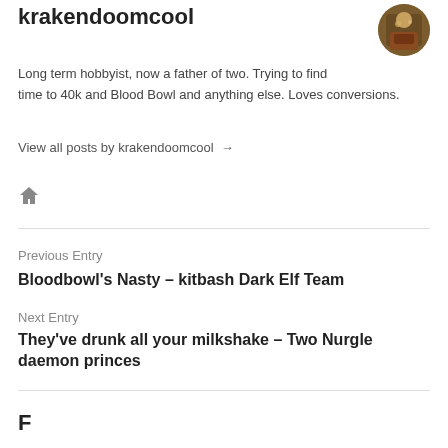krakendoomcool
[Figure (photo): Circular avatar image of a painted miniature figure]
Long term hobbyist, now a father of two. Trying to find time to 40k and Blood Bowl and anything else. Loves conversions.
View all posts by krakendoomcool →
[Figure (illustration): Home icon (house symbol)]
Previous Entry
Bloodbowl's Nasty – kitbash Dark Elf Team
Next Entry
They've drunk all your milkshake – Two Nurgle daemon princes
F…